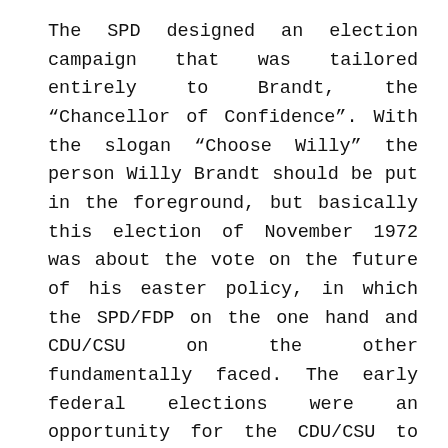The SPD designed an election campaign that was tailored entirely to Brandt, the “Chancellor of Confidence”. With the slogan “Choose Willy” the person Willy Brandt should be put in the foreground, but basically this election of November 1972 was about the vote on the future of his easter policy, in which the SPD/FDP on the one hand and CDU/CSU on the other fundamentally faced. The early federal elections were an opportunity for the CDU/CSU to stop this policy. Willy Brandt regularly mobilized the masses during his election campaign appearances. His fame was based on his 'election campaigns' for the federal elections of 1961 and 1965 as the